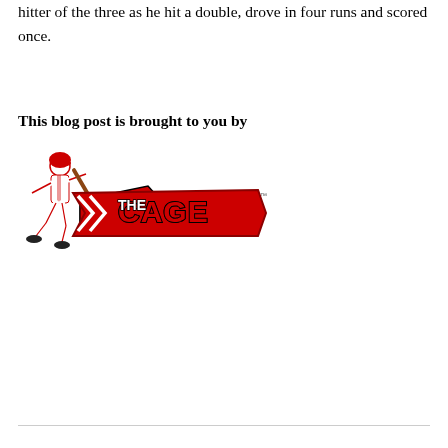hitter of the three as he hit a double, drove in four runs and scored once.
This blog post is brought to you by
[Figure (logo): The Cage baseball batting logo — a baseball player swinging a bat with red arrow ribbons and bold red/white/black lettering reading 'THE CAGE' with a trademark symbol]